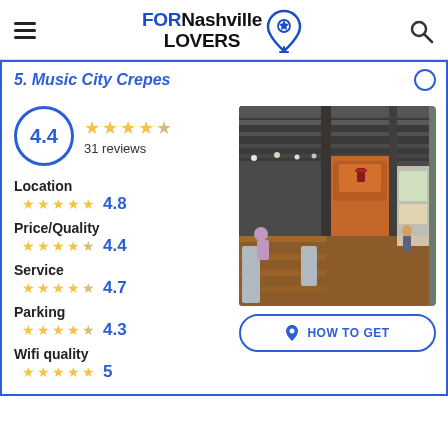FORNashville LOVERS
5. Music City Crepes
4.4 — 31 reviews
Location 4.8
Price/Quality 4.4
Service 4.7
Parking 4.3
Wifi quality 5
[Figure (photo): Interior of Music City Crepes restaurant showing long dining tables with chairs, warm lighting, and an open market-hall style ceiling with string lights.]
HOW TO GET